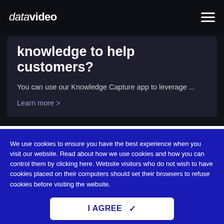datavideo
knowledge to help customers?
You can use our Knowledge Capture app to leverage ...
Learn more >
We use cookies to ensure you have the best experience when you visit our website. Read about how we use cookies and how you can control them by clicking here. Website visitors who do not wish to have cookies placed on their computers should set their browsers to refuse cookies before visiting the website.
I AGREE ✓